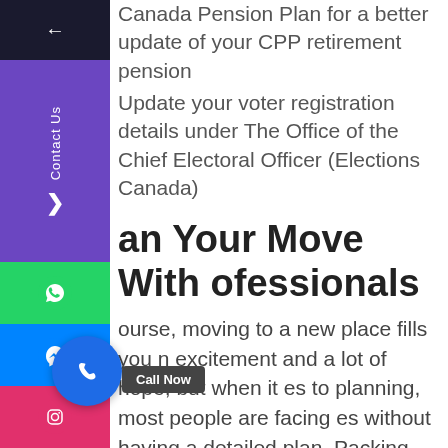Canada Pension Plan for a better update of your CPP retirement pension
Update your voter registration details under The Office of the Chief Electoral Officer (Elections Canada)
Plan Your Move With Professionals
Of course, moving to a new place fills you with excitement and a lot of hope, but when it comes to planning, most people are facing issues without having a detailed plan. Packing and unpacking, loading and unloading, assembling and disassembling, transporting, all these cannot be performed on your own, especially when it comes to a long-distance move.